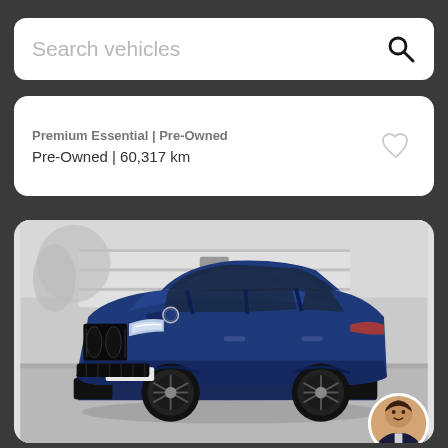Search vehicles
Premium Essential | Pre-Owned | 60,317 km
[Figure (photo): Blue BMW X2 SUV photographed in front of a building, with a black-and-white background. A circular agent avatar photo appears in the bottom-right corner.]